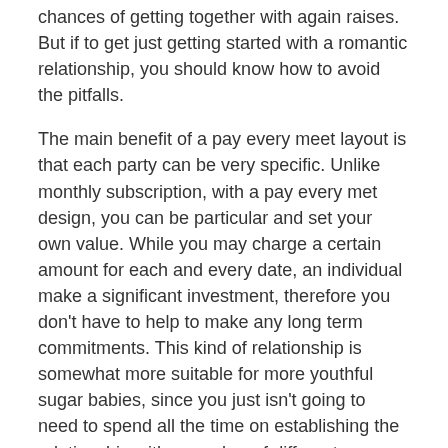chances of getting together with again raises. But if to get just getting started with a romantic relationship, you should know how to avoid the pitfalls.
The main benefit of a pay every meet layout is that each party can be very specific. Unlike monthly subscription, with a pay every met design, you can be particular and set your own value. While you may charge a certain amount for each and every date, an individual make a significant investment, therefore you don't have to help to make any long term commitments. This kind of relationship is somewhat more suitable for more youthful sugar babies, since you just isn't going to need to spend all the time on establishing the relationship with a number of different men.
A single drawback of a pay per match arrangement is the fact you can't control how much cash you'll acquire from each client. You must give your sugars baby a set amount of money for each day. If you're lucky, you'll end up having an income of $2, 800 to $3, 300 a month. But this is sometimes a difficult